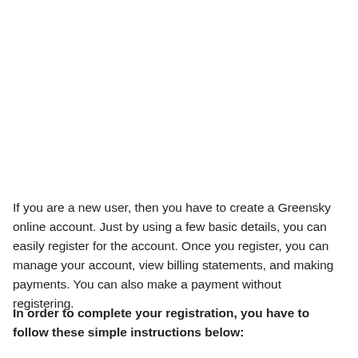If you are a new user, then you have to create a Greensky online account. Just by using a few basic details, you can easily register for the account. Once you register, you can manage your account, view billing statements, and making payments. You can also make a payment without registering.
In order to complete your registration, you have to follow these simple instructions below: